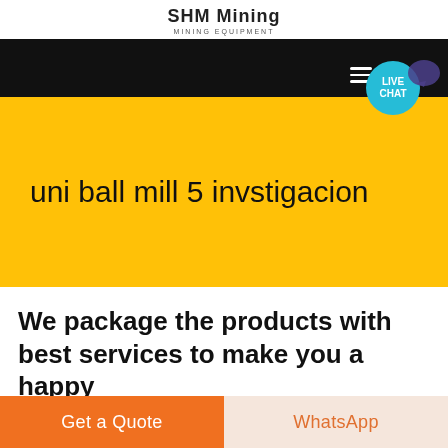SHM Mining
MINING EQUIPMENT
[Figure (screenshot): Black hero banner with yellow section below showing site navigation area, and a teal live chat button with speech bubble icon in top right]
uni ball mill 5 invstigacion
We package the products with best services to make you a happy
Get a Quote
WhatsApp